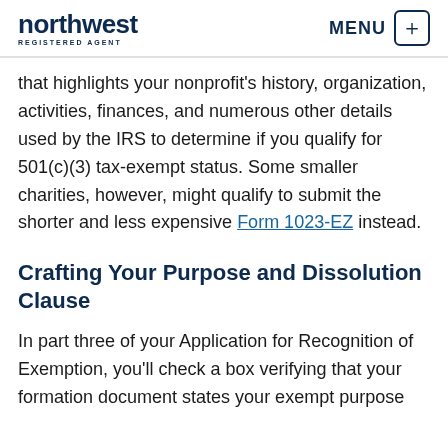northwest REGISTERED AGENT | MENU
that highlights your nonprofit's history, organization, activities, finances, and numerous other details used by the IRS to determine if you qualify for 501(c)(3) tax-exempt status. Some smaller charities, however, might qualify to submit the shorter and less expensive Form 1023-EZ instead.
Crafting Your Purpose and Dissolution Clause
In part three of your Application for Recognition of Exemption, you'll check a box verifying that your formation document states your exempt purpose